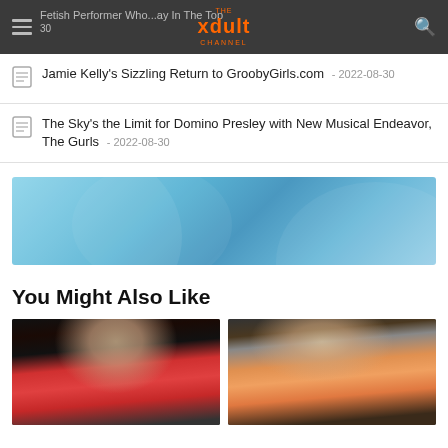THE xdult CHANNEL — Fetish Performer Who...ay In The Top 30
Jamie Kelly's Sizzling Return to GroobyGirls.com - 2022-08-30
The Sky's the Limit for Domino Presley with New Musical Endeavor, The Gurls - 2022-08-30
[Figure (other): Blue banner advertisement with decorative circular shapes on gradient blue background]
You Might Also Like
[Figure (photo): Thumbnail image - person in red top on dark background]
[Figure (photo): Thumbnail image - person in orange on light background]